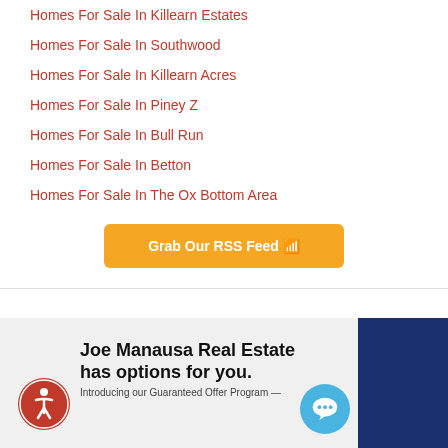Homes For Sale In Killearn Estates
Homes For Sale In Southwood
Homes For Sale In Killearn Acres
Homes For Sale In Piney Z
Homes For Sale In Bull Run
Homes For Sale In Betton
Homes For Sale In The Ox Bottom Area
Grab Our RSS Feed
[Figure (infographic): Joe Manausa Real Estate advertisement with accessibility icon, blue bar on right, chat bubble, text: Joe Manausa Real Estate has options for you. Introducing our Guaranteed Offer Program —]